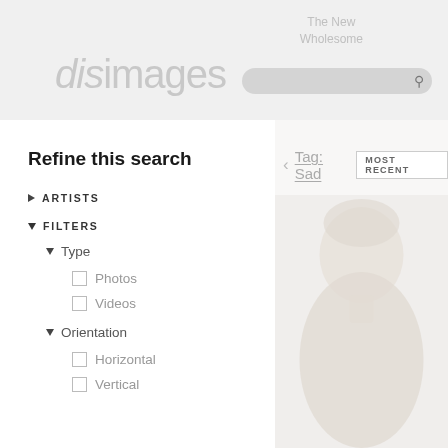disimages
The New Wholesome
Refine this search
ARTISTS
FILTERS
Type
Photos
Videos
Orientation
Horizontal
Vertical
Tag: Sad
MOST RECENT
[Figure (photo): Faded portrait photograph of a person, partially visible, light skin tones against white background]